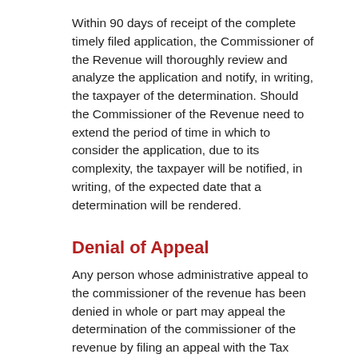Within 90 days of receipt of the complete timely filed application, the Commissioner of the Revenue will thoroughly review and analyze the application and notify, in writing, the taxpayer of the determination. Should the Commissioner of the Revenue need to extend the period of time in which to consider the application, due to its complexity, the taxpayer will be notified, in writing, of the expected date that a determination will be rendered.
Denial of Appeal
Any person whose administrative appeal to the commissioner of the revenue has been denied in whole or part may appeal the determination of the commissioner of the revenue by filing an appeal with the Tax Commissioner and serving a copy of the appeal upon the commissioner of the revenue within 90 days of the date of the determination of the commissioner of the revenue. The appeal shall include a copy of the written determination of the commissioner of the revenue that shall be sent to the written determination of the commissioner of the